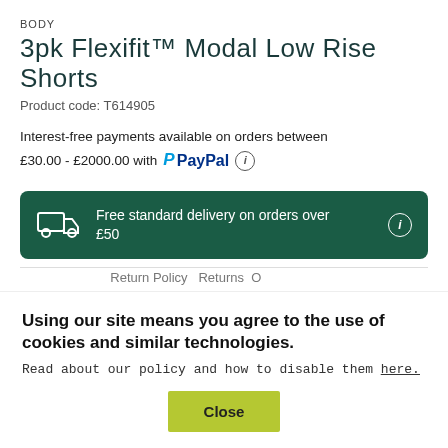BODY
3pk Flexifit™ Modal Low Rise Shorts
Product code: T614905
Interest-free payments available on orders between £30.00 - £2000.00 with PayPal ⓘ
Free standard delivery on orders over £50
Using our site means you agree to the use of cookies and similar technologies. Read about our policy and how to disable them here.